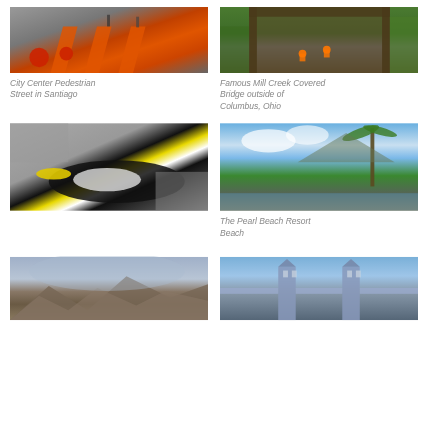[Figure (photo): City Center Pedestrian Street in Santiago - orange/red striped street with pedestrians and red spherical furniture]
City Center Pedestrian Street in Santiago
[Figure (photo): Famous Mill Creek Covered Bridge outside of Columbus, Ohio - cyclists riding through a covered wooden bridge]
Famous Mill Creek Covered Bridge outside of Columbus, Ohio
[Figure (photo): Close-up of a penguin lying on stone ground, showing black and white plumage with yellow beak]
[Figure (photo): The Pearl Beach Resort Beach - tropical resort with palm tree, mountains, pool and lush greenery]
The Pearl Beach Resort Beach
[Figure (photo): Landscape with mountains and overcast cloudy sky]
[Figure (photo): Tower Bridge in London under blue sky]